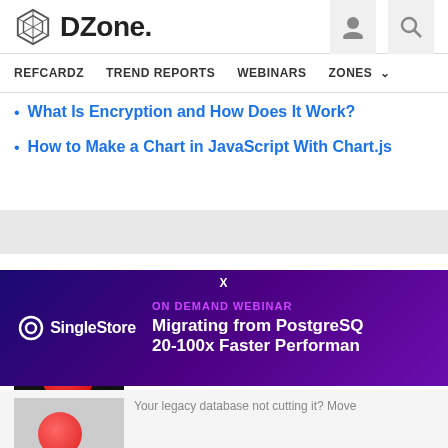DZone - REFCARDZ  TREND REPORTS  WEBINARS  ZONES
What Is Encryption and How Does It Work?
How to Make a Chart in JavaScript With Chart.js
Performance Partner Resources
How to level up From MongoDB™
Get better scalability, performance, and
[Figure (screenshot): SingleStore ON DEMAND WEBINAR advertisement banner: Migrating from PostgreSQL 20-100x Faster Performance]
Your legacy database not cutting it? Move